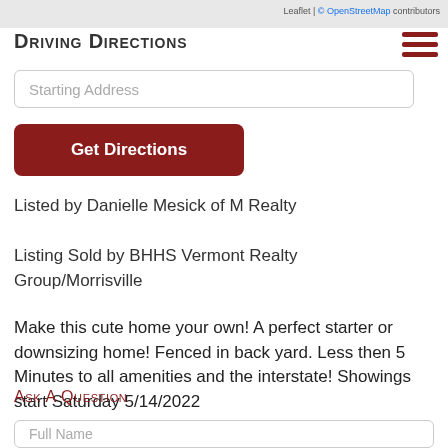Leaflet | © OpenStreetMap contributors
Driving Directions
Starting Address
Get Directions
Listed by Danielle Mesick of M Realty
Listing Sold by BHHS Vermont Realty Group/Morrisville
Make this cute home your own! A perfect starter or downsizing home! Fenced in back yard. Less then 5 Minutes to all amenities and the interstate! Showings start Saturday 5/14/2022
Ask A Question
Full Name